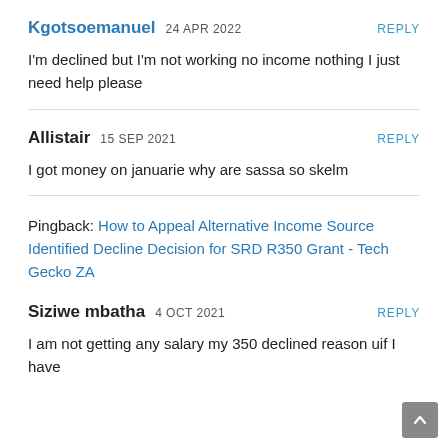Kgotsoemanuel 24 APR 2022 REPLY
I'm declined but I'm not working no income nothing I just need help please
Allistair 15 SEP 2021 REPLY
I got money on januarie why are sassa so skelm
Pingback: How to Appeal Alternative Income Source Identified Decline Decision for SRD R350 Grant - Tech Gecko ZA
Siziwe mbatha 4 OCT 2021 REPLY
I am not getting any salary my 350 declined reason uif I have